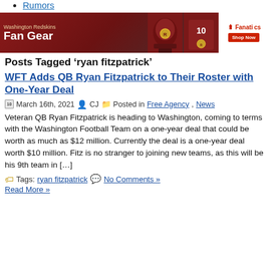Rumors
[Figure (illustration): Washington Redskins Fan Gear banner advertisement with Fanatics logo and Shop Now button]
Posts Tagged ‘ryan fitzpatrick’
WFT Adds QB Ryan Fitzpatrick to Their Roster with One-Year Deal
March 16th, 2021  CJ  Posted in Free Agency, News
Veteran QB Ryan Fitzpatrick is heading to Washington, coming to terms with the Washington Football Team on a one-year deal that could be worth as much as $12 million. Currently the deal is a one-year deal worth $10 million. Fitz is no stranger to joining new teams, as this will be his 9th team in […]
Tags: ryan fitzpatrick  No Comments »
Read More »